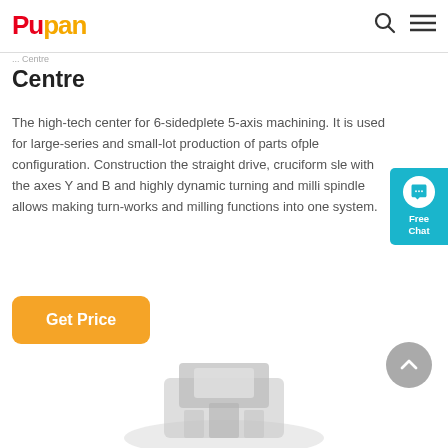Pupan
Centre
The high-tech center for 6-sidedplete 5-axis machining. It is used for large-series and small-lot production of parts ofple configuration. Construction the straight drive, cruciform sle with the axes Y and B and highly dynamic turning and milli spindle allows making turn-works and milling functions into one system.
[Figure (illustration): Get Price button - orange rounded rectangle button]
[Figure (photo): Product image of a CNC machining centre, partially visible at bottom of page]